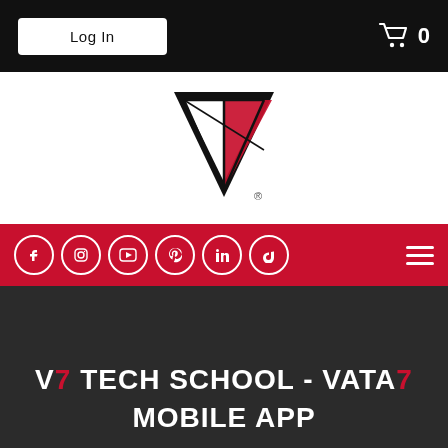[Figure (screenshot): Top navigation bar with black background, Log In button and shopping cart icon with 0]
[Figure (logo): V7 brand logo - geometric diamond/triangle shape in black and red with registered trademark symbol]
[Figure (screenshot): Red navigation bar with social media icons (Facebook, Instagram, YouTube, Pinterest, LinkedIn, TikTok) and hamburger menu]
V7 TECH SCHOOL - VATA7 MOBILE APP
[Figure (screenshot): Language switcher showing English flag and English text with chevron]